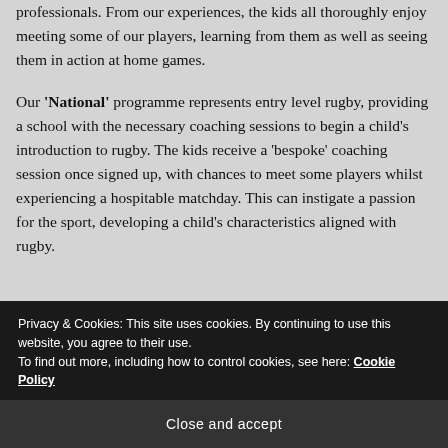providing the schools with the opportunity to work with professionals. From our experiences, the kids all thoroughly enjoy meeting some of our players, learning from them as well as seeing them in action at home games.
Our 'National' programme represents entry level rugby, providing a school with the necessary coaching sessions to begin a child's introduction to rugby. The kids receive a 'bespoke' coaching session once signed up, with chances to meet some players whilst experiencing a hospitable matchday. This can instigate a passion for the sport, developing a child's characteristics aligned with rugby.
Privacy & Cookies: This site uses cookies. By continuing to use this website, you agree to their use.
To find out more, including how to control cookies, see here: Cookie Policy
Close and accept